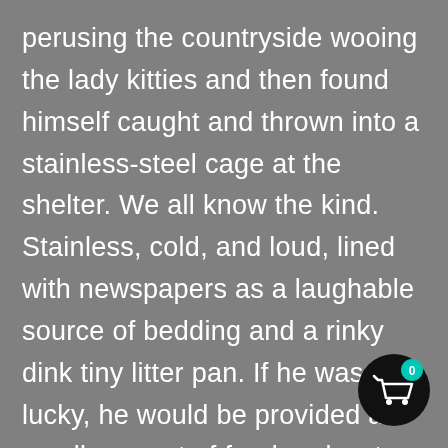perusing the countryside wooing the lady kitties and then found himself caught and thrown into a stainless-steel cage at the shelter. We all know the kind. Stainless, cold, and loud, lined with newspapers as a laughable source of bedding and a rinky dink tiny litter pan. If he was lucky, he would be provided a small amount of food and water that hopefully he didn't spill in his frantic attempts to reach out for affection through the cage bars. Charcoal was lucky. He was handsome, young, and full of life. He
[Figure (other): Shopping cart icon button (black circle with white cart icon) with a teal badge showing the number 0, positioned in the bottom-right corner of the page.]